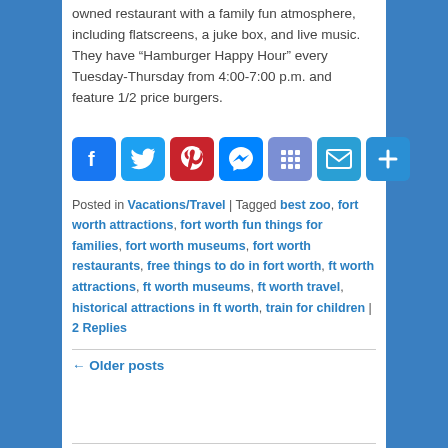owned restaurant with a family fun atmosphere, including flatscreens, a juke box, and live music. They have “Hamburger Happy Hour” every Tuesday-Thursday from 4:00-7:00 p.m. and feature 1/2 price burgers.
[Figure (infographic): Social media sharing buttons: Facebook, Twitter, Pinterest, Messenger, Grid/Apps, Email, More/Plus]
Posted in Vacations/Travel | Tagged best zoo, fort worth attractions, fort worth fun things for families, fort worth museums, fort worth restaurants, free things to do in fort worth, ft worth attractions, ft worth museums, ft worth travel, historical attractions in ft worth, train for children | 2 Replies
← Older posts